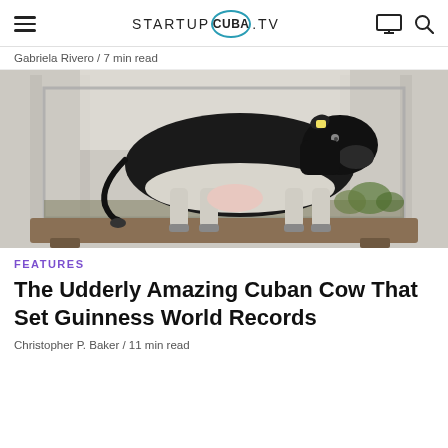STARTUP CUBA .TV
Gabriela Rivero / 7 min read
[Figure (photo): A black and white dairy cow displayed inside a glass enclosure/tank mounted on a wooden platform, set in a bright indoor space with plants in background.]
FEATURES
The Udderly Amazing Cuban Cow That Set Guinness World Records
Christopher P. Baker / 11 min read